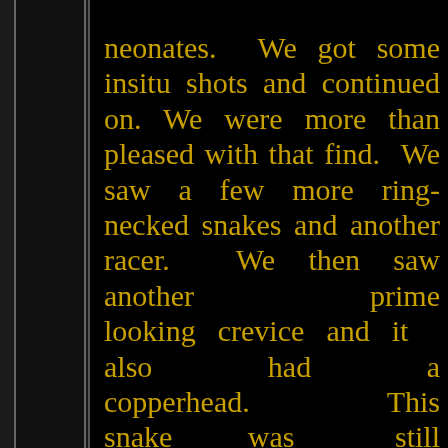adult was neonates. We got some insitu shots and continued on. We were more than pleased with that find. We saw a few more ring-necked snakes and another racer. We then saw another prime looking crevice and it also had a copperhead. This snake was still gravid. I took a picture of the snake poking its head out of the crevice and continued on. While Brian was